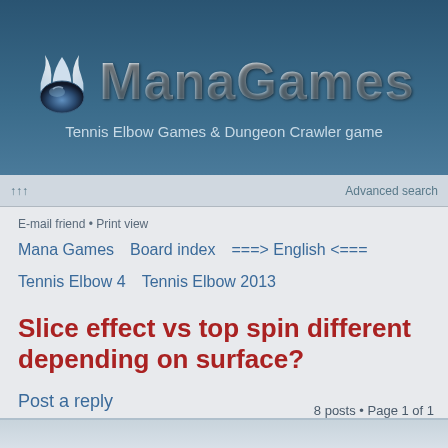[Figure (logo): ManaGames logo with flame/orb icon and metallic gradient text]
Tennis Elbow Games & Dungeon Crawler game
↑↑↑   Advanced search
E-mail friend • Print view
Mana Games   Board index   ===> English <===
Tennis Elbow 4   Tennis Elbow 2013
Slice effect vs top spin different depending on surface?
Post a reply
8 posts • Page 1 of 1